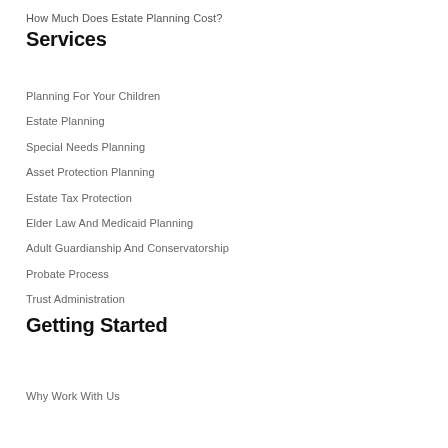How Much Does Estate Planning Cost?
Services
Planning For Your Children
Estate Planning
Special Needs Planning
Asset Protection Planning
Estate Tax Protection
Elder Law And Medicaid Planning
Adult Guardianship And Conservatorship
Probate Process
Trust Administration
Getting Started
Why Work With Us